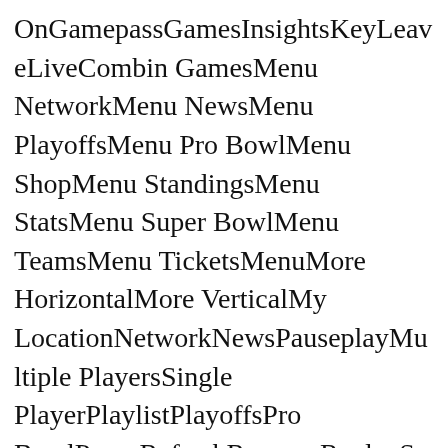OnGamepassGamesInsightsKeyLeaveLiveCombineGamesMenu NetworkMenu NewsMenu PlayoffsMenu Pro BowlMenu ShopMenu StandingsMenu StatsMenu Super BowlMenu TeamsMenu TicketsMenuMore HorizontalMore VerticalMy LocationNetworkNewsPauseplayMultiple PlayersSingle PlayerPlaylistPlayoffsPro BowlPurgeRefreshRemoveReplaySearchSettingsSAndroidShare Copy URLShare EmailShare FacebookShare InstagramShare iOSShare SnapchatShare TwitterSkip NextSkip PreviousStandingsStarStatsSwapTeamsTicketsVieOffVisibility OnVolume HiVolume LowVolume MediumVolume MuteWarningWebsite Caret downCaret up Unfortunately, not only did